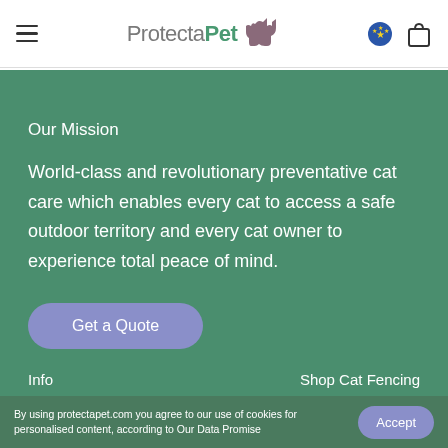ProtectaPet
Our Mission
World-class and revolutionary preventative cat care which enables every cat to access a safe outdoor territory and every cat owner to experience total peace of mind.
Get a Quote
Info
Shop Cat Fencing
By using protectapet.com you agree to our use of cookies for personalised content, according to Our Data Promise